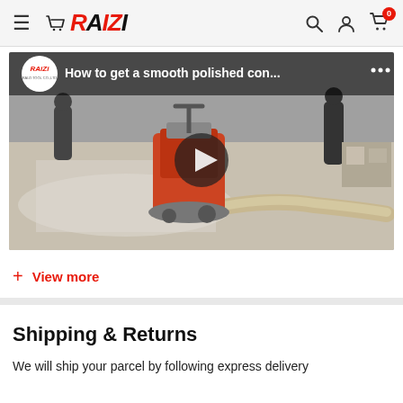Raizi Tools - Navigation header with logo, search, account, and cart icons
[Figure (screenshot): YouTube video thumbnail showing a floor polishing machine grinding concrete floor with hose, titled 'How to get a smooth polished con...']
+ View more
Shipping & Returns
We will ship your parcel by following express delivery